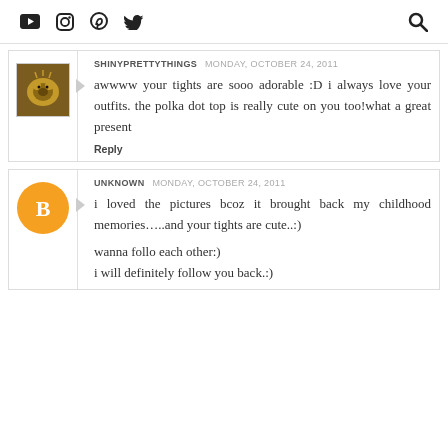[YouTube] [Instagram] [Pinterest] [Twitter] [Search]
SHINYPRETTYTHINGS  MONDAY, OCTOBER 24, 2011
awwww your tights are sooo adorable :D i always love your outfits. the polka dot top is really cute on you too!what a great present
Reply
UNKNOWN  MONDAY, OCTOBER 24, 2011
i loved the pictures bcoz it brought back my childhood memories…..and your tights are cute..:)

wanna follo each other:)
i will definitely follow you back.:)